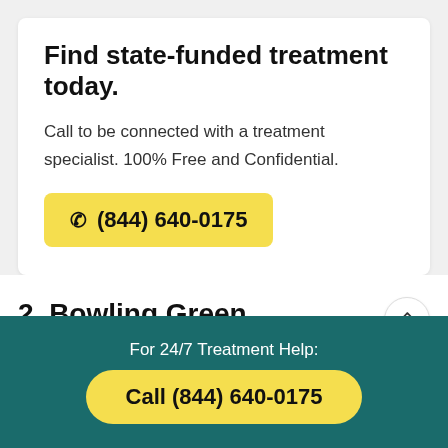Find state-funded treatment today.
Call to be connected with a treatment specialist. 100% Free and Confidential.
☎ (844) 640-0175
2. Bowling Green Brandywine, Kennett Square, Pennsylvania
For 24/7 Treatment Help:
Call (844) 640-0175